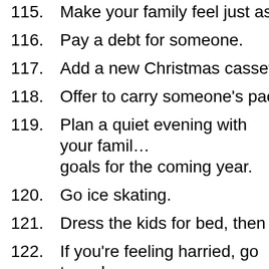115. Make your family feel just as importa…
116. Pay a debt for someone.
117. Add a new Christmas cassette or CD…
118. Offer to carry someone's packages.
119. Plan a quiet evening with your family… goals for the coming year.
120. Go ice skating.
121. Dress the kids for bed, then get in th…
122. If you're feeling harried, go to a chur… meaning of Christmas.
123. Introduce a shy person to others at t…